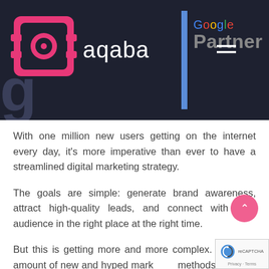[Figure (logo): Aqaba company logo with pink camera/lens icon on dark navy background, alongside Google Partner badge]
With one million new users getting on the internet every day, it's more imperative than ever to have a streamlined digital marketing strategy.
The goals are simple: generate brand awareness, attract high-quality leads, and connect with your audience in the right place at the right time.
But this is getting more and more complex. The vast amount of new and hyped marketing methods makes it hard to figure out the...